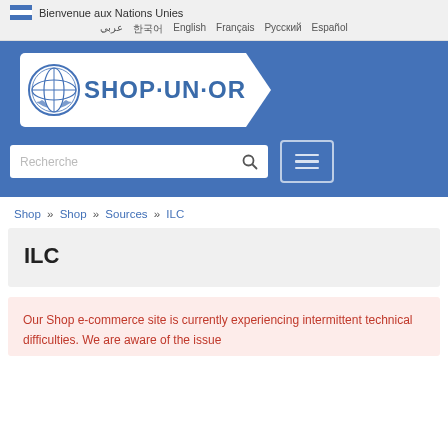Bienvenue aux Nations Unies
عربي  한국어  English  Français  Русский  Español
[Figure (logo): SHOP·UN·ORG logo with UN emblem on white tag-shaped background on blue banner]
Recherche (search box with hamburger menu)
Shop » Shop » Sources » ILC
ILC
Our Shop e-commerce site is currently experiencing intermittent technical difficulties. We are aware of the issue